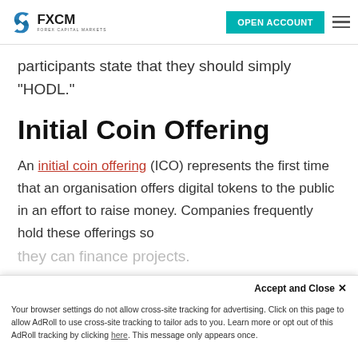[Figure (logo): FXCM Forex Capital Markets logo with blue swirl graphic, teal OPEN ACCOUNT button, and hamburger menu icon]
participants state that they should simply "HODL."
Initial Coin Offering
An initial coin offering (ICO) represents the first time that an organisation offers digital tokens to the public in an effort to raise money. Companies frequently hold these offerings so they can finance projects.
These digital token sales have often been
Accept and Close ×
Your browser settings do not allow cross-site tracking for advertising. Click on this page to allow AdRoll to use cross-site tracking to tailor ads to you. Learn more or opt out of this AdRoll tracking by clicking here. This message only appears once.